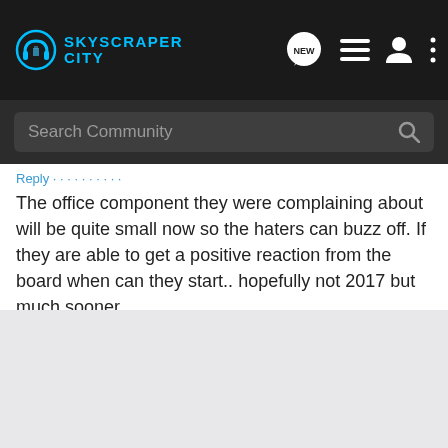[Figure (screenshot): SkyscraperCity forum website navigation bar with logo on the left and icons (NEW message bubble, list/menu, profile, more options) on the right, on dark background]
[Figure (screenshot): Search bar with placeholder text 'Search Community' and a search icon on the right, on dark gray background]
The office component they were complaining about will be quite small now so the haters can buzz off. If they are able to get a positive reaction from the board when can they start.. hopefully not 2017 but much sooner.